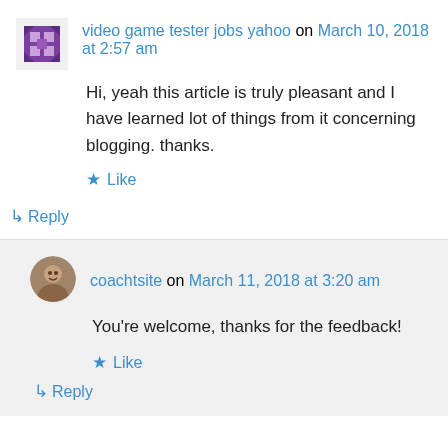video game tester jobs yahoo on March 10, 2018 at 2:57 am
Hi, yeah this article is truly pleasant and I have learned lot of things from it concerning blogging. thanks.
Like
Reply
coachtsite on March 11, 2018 at 3:20 am
You're welcome, thanks for the feedback!
Like
Reply